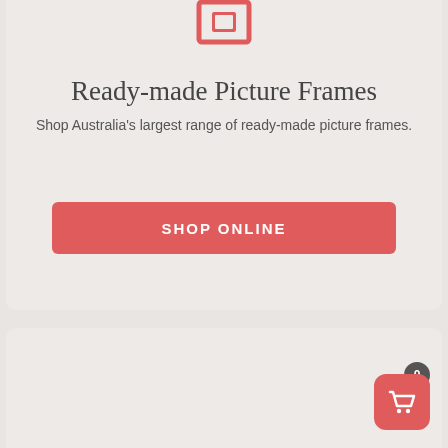[Figure (logo): Red picture frame icon at top of card]
Ready-made Picture Frames
Shop Australia's largest range of ready-made picture frames.
SHOP ONLINE
[Figure (illustration): Red picture/image frame icon with mountain and sun scene inside]
[Figure (infographic): Shopping cart button with badge showing 0 items]